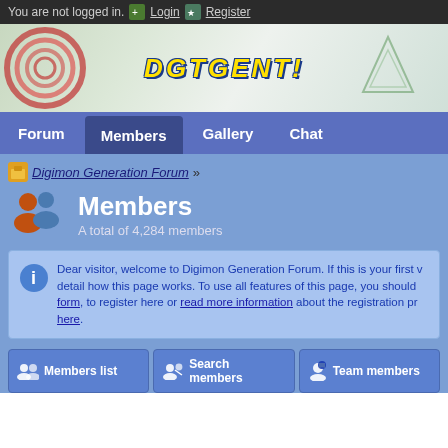You are not logged in. Login Register
[Figure (screenshot): Digimon Generation Forum banner with logo on decorative background]
Forum Members Gallery Chat
Digimon Generation Forum »
Members
A total of 4,284 members
Dear visitor, welcome to Digimon Generation Forum. If this is your first visit, be sure to check out the FAQ by clicking the link above. You may have to register before you can post: click the register link above to proceed. To start viewing messages, select the forum that you want to visit from the selection below.
Members list Search members Team members